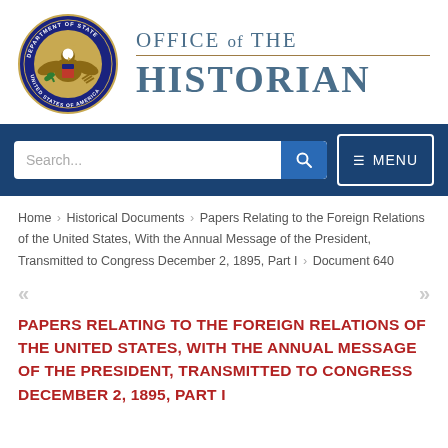[Figure (logo): US Department of State seal and Office of the Historian logo]
Search... MENU
Home › Historical Documents › Papers Relating to the Foreign Relations of the United States, With the Annual Message of the President, Transmitted to Congress December 2, 1895, Part I › Document 640
PAPERS RELATING TO THE FOREIGN RELATIONS OF THE UNITED STATES, WITH THE ANNUAL MESSAGE OF THE PRESIDENT, TRANSMITTED TO CONGRESS DECEMBER 2, 1895, PART I